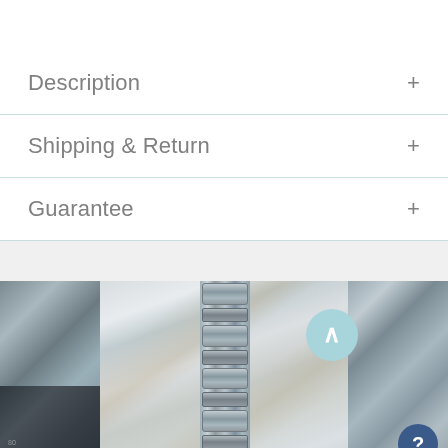Description
Shipping & Return
Guarantee
[Figure (photo): Close-up photograph of a silver watch bracelet/strap with interlocking metal links, alongside what appears to be a marble or stone surface with tan/gold veining. Partial view of a watch dial is visible in the bottom-left corner.]